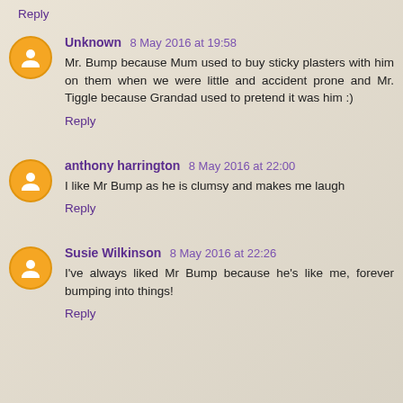Reply
Unknown 8 May 2016 at 19:58
Mr. Bump because Mum used to buy sticky plasters with him on them when we were little and accident prone and Mr. Tiggle because Grandad used to pretend it was him :)
Reply
anthony harrington 8 May 2016 at 22:00
I like Mr Bump as he is clumsy and makes me laugh
Reply
Susie Wilkinson 8 May 2016 at 22:26
I've always liked Mr Bump because he's like me, forever bumping into things!
Reply